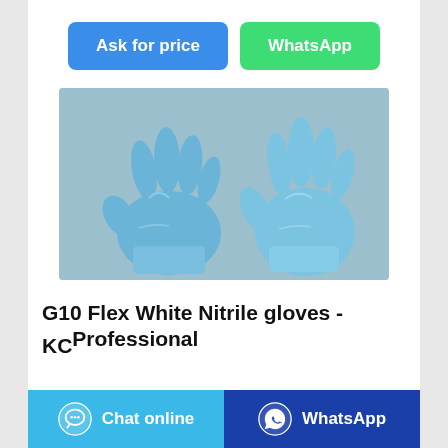[Figure (other): Two blue nitrile gloves laid flat on a grey surface, one palm-up and one palm-down]
G10 Flex White Nitrile gloves - KCProfessional
Ask for price | WhatsApp
Chat online | WhatsApp